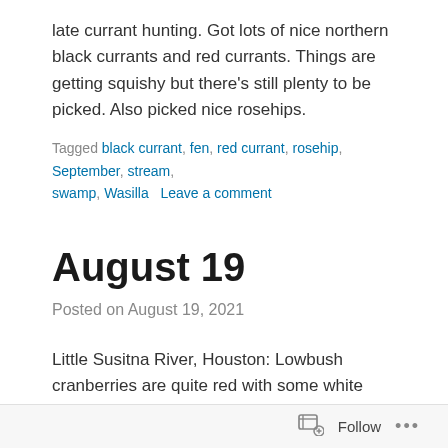late currant hunting. Got lots of nice northern black currants and red currants. Things are getting squishy but there's still plenty to be picked. Also picked nice rosehips.
Tagged black currant, fen, red currant, rosehip, September, stream, swamp, Wasilla   Leave a comment
August 19
Posted on August 19, 2021
Little Susitna River, Houston: Lowbush cranberries are quite red with some white unripe blotches remaining on undersides; most berries crunchy. A few plants are still flowering. Everything is looking good for picking later. Very
Follow  ...